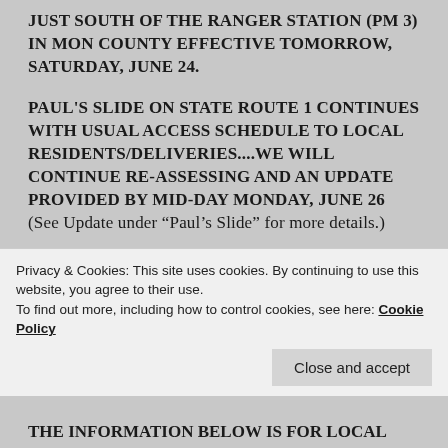JUST SOUTH OF THE RANGER STATION (PM 3) IN MON COUNTY EFFECTIVE TOMORROW, SATURDAY, JUNE 24.
PAUL'S SLIDE ON STATE ROUTE 1 CONTINUES WITH USUAL ACCESS SCHEDULE TO LOCAL RESIDENTS/DELIVERIES....WE WILL CONTINUE RE-ASSESSING AND AN UPDATE PROVIDED BY MID-DAY MONDAY, JUNE 26 (See Update under “Paul’s Slide” for more details.)
STATE ROUTE 1 REMAINS FULLY CLOSED IN BOTH DIRECTIONS AT MUD CREEK DUE TO CONTINUED
Privacy & Cookies: This site uses cookies. By continuing to use this website, you agree to their use.
To find out more, including how to control cookies, see here: Cookie Policy
Close and accept
THE INFORMATION BELOW IS FOR LOCAL